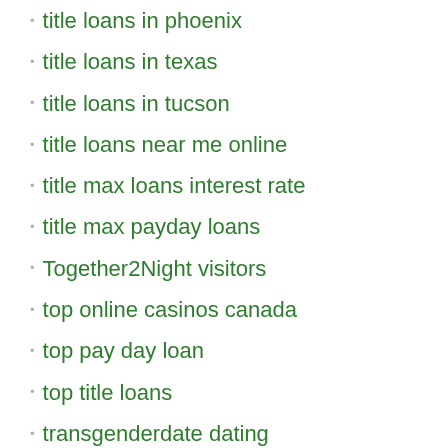title loans in phoenix
title loans in texas
title loans in tucson
title loans near me online
title max loans interest rate
title max payday loans
Together2Night visitors
top online casinos canada
top pay day loan
top title loans
transgenderdate dating
tucson what is a escort